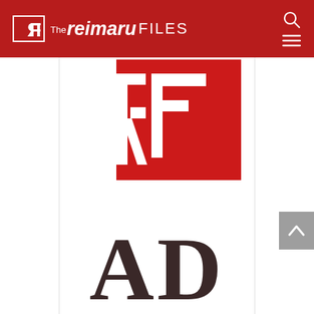[Figure (logo): The Reimaru Files website header with red background, RF logo mark, site name 'The reimaru FILES', search icon and hamburger menu icon]
[Figure (logo): Large RF logo mark in red on white background, stylized reversed R and F letters]
[Figure (other): Large dark brown serif text 'AD' displayed as advertisement placeholder]